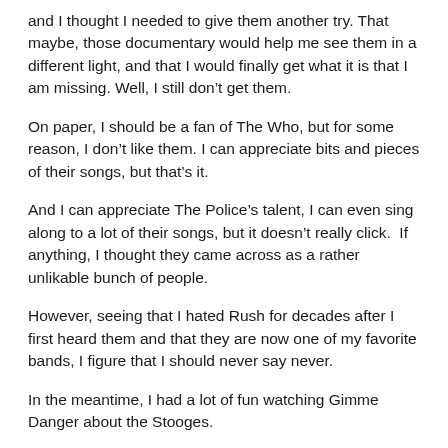and I thought I needed to give them another try. That maybe, those documentary would help me see them in a different light, and that I would finally get what it is that I am missing. Well, I still don't get them.
On paper, I should be a fan of The Who, but for some reason, I don't like them. I can appreciate bits and pieces of their songs, but that's it.
And I can appreciate The Police's talent, I can even sing along to a lot of their songs, but it doesn't really click.  If anything, I thought they came across as a rather unlikable bunch of people.
However, seeing that I hated Rush for decades after I first heard them and that they are now one of my favorite bands, I figure that I should never say never.
In the meantime, I had a lot of fun watching Gimme Danger about the Stooges.